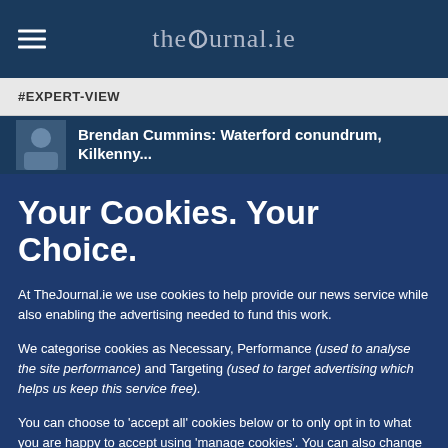thejournal.ie
#EXPERT-VIEW
Brendan Cummins: Waterford conundrum, Kilkenny...
Your Cookies. Your Choice.
At TheJournal.ie we use cookies to help provide our news service while also enabling the advertising needed to fund this work.
We categorise cookies as Necessary, Performance (used to analyse the site performance) and Targeting (used to target advertising which helps us keep this service free).
You can choose to 'accept all' cookies below or to only opt in to what you are happy to accept using 'manage cookies'. You can also change your cookie settings at any time and learn more about how we use cookies in